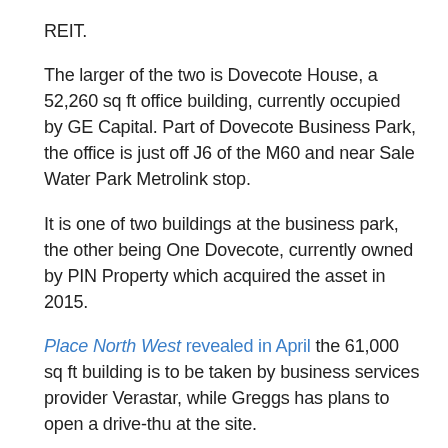REIT.
The larger of the two is Dovecote House, a 52,260 sq ft office building, currently occupied by GE Capital. Part of Dovecote Business Park, the office is just off J6 of the M60 and near Sale Water Park Metrolink stop.
It is one of two buildings at the business park, the other being One Dovecote, currently owned by PIN Property which acquired the asset in 2015.
Place North West revealed in April the 61,000 sq ft building is to be taken by business services provider Verastar, while Greggs has plans to open a drive-thu at the site.
The portfolio deal also includes The Foundation at Chester Business Park. The 30,260 sq ft building with 192 car parking spaces is a mile south of Chester city